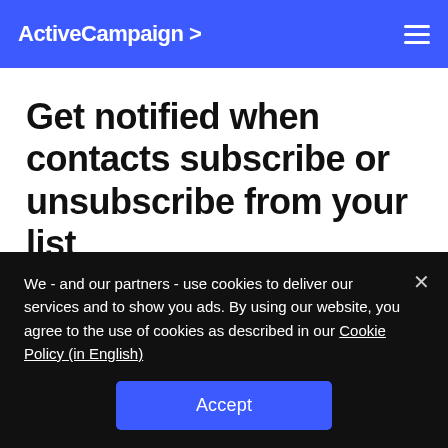ActiveCampaign >
Get notified when contacts subscribe or unsubscribe from your list
Sarah N
Last updated August 08, 2022 19:56
We - and our partners - use cookies to deliver our services and to show you ads. By using our website, you agree to the use of cookies as described in our Cookie Policy (in English)
Accept